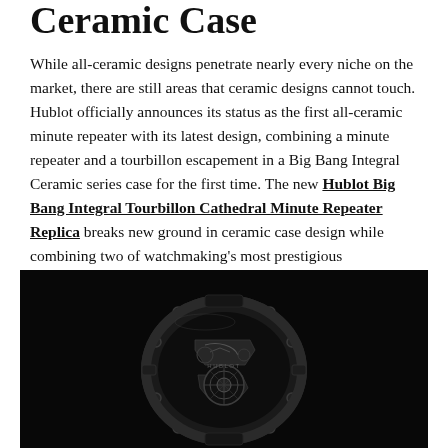Ceramic Case
While all-ceramic designs penetrate nearly every niche on the market, there are still areas that ceramic designs cannot touch. Hublot officially announces its status as the first all-ceramic minute repeater with its latest design, combining a minute repeater and a tourbillon escapement in a Big Bang Integral Ceramic series case for the first time. The new Hublot Big Bang Integral Tourbillon Cathedral Minute Repeater Replica breaks new ground in ceramic case design while combining two of watchmaking's most prestigious complications.
[Figure (photo): Close-up black and white photograph of a Hublot Big Bang Integral Tourbillon Cathedral Minute Repeater watch with skeleton dial showing movement, ceramic case]